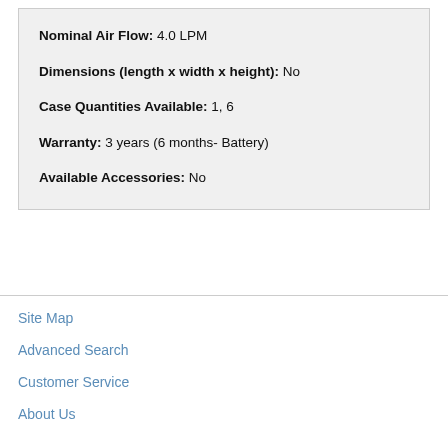Nominal Air Flow: 4.0 LPM
Dimensions (length x width x height): No
Case Quantities Available: 1, 6
Warranty: 3 years (6 months- Battery)
Available Accessories: No
Site Map
Advanced Search
Customer Service
About Us